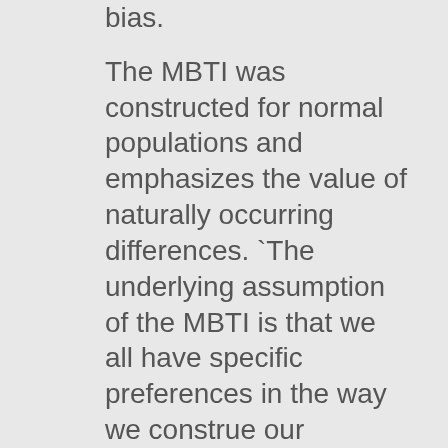bias. The MBTI was constructed for normal populations and emphasizes the value of naturally occurring differences. `The underlying assumption of the MBTI is that we all have specific preferences in the way we construe our experiences, and these preferences underlie our interests, needs, values, and motivation.'